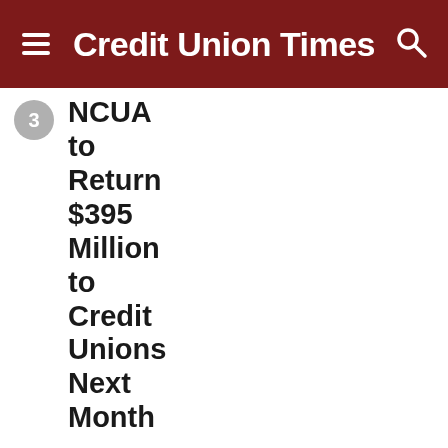Credit Union Times
NCUA to Return $395 Million to Credit Unions Next Month
Federal Student Loan Debt Forgiveness: A Test for Credit